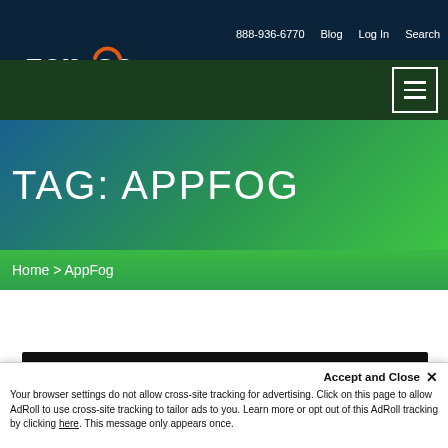Zenoss — Own IT. | 888-936-6770 | Blog | Log In | Search
TAG: APPFOG
Home > AppFog
[Figure (screenshot): Black content bar partially visible]
Accept and Close ✕
Your browser settings do not allow cross-site tracking for advertising. Click on this page to allow AdRoll to use cross-site tracking to tailor ads to you. Learn more or opt out of this AdRoll tracking by clicking here. This message only appears once.